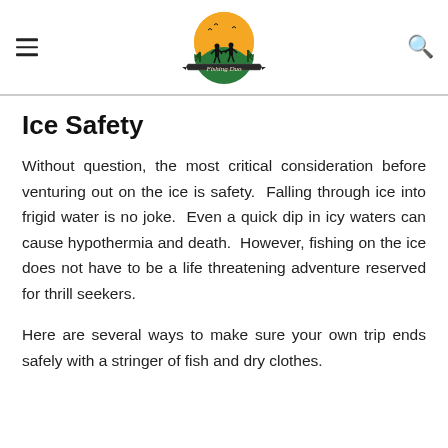Fishing Duo
Ice Safety
Without question, the most critical consideration before venturing out on the ice is safety.  Falling through ice into frigid water is no joke.  Even a quick dip in icy waters can cause hypothermia and death.  However, fishing on the ice does not have to be a life threatening adventure reserved for thrill seekers.
Here are several ways to make sure your own trip ends safely with a stringer of fish and dry clothes.